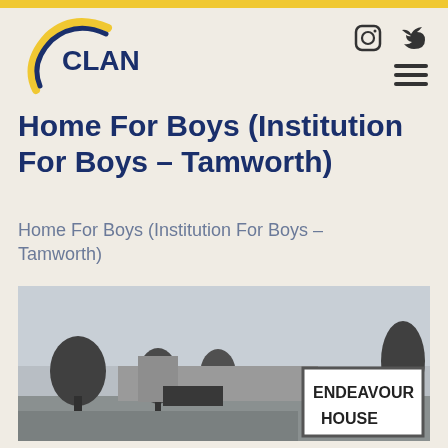[Figure (logo): CLAN organization logo with navy and yellow crescent swoosh]
[Figure (other): Social media icons: Instagram circle and Twitter bird]
Home For Boys (Institution For Boys – Tamworth)
Home For Boys (Institution For Boys – Tamworth)
[Figure (photo): Black and white photograph of Endeavour House building with trees in foreground and a sign reading ENDEAVOUR HOUSE]